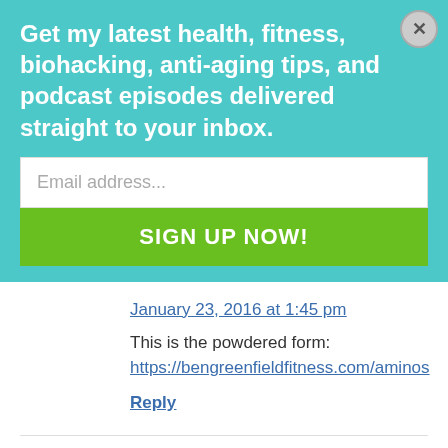Get my latest health, fitness, biohacking, anti-aging tips, and podcast episodes delivered straight to your inbox.
Email address...
SIGN UP NOW!
January 23, 2016 at 1:45 pm
This is the powdered form:
https://bengreenfieldfitness.com/aminos
Reply
Scott says:
January 29, 2016 at 4:51 pm